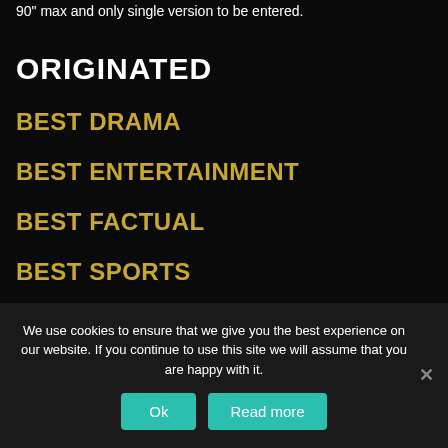90" max and only single version to be entered.
ORIGINATED
BEST DRAMA
BEST ENTERTAINMENT
BEST FACTUAL
BEST SPORTS
BEST KIDS
We use cookies to ensure that we give you the best experience on our website. If you continue to use this site we will assume that you are happy with it.